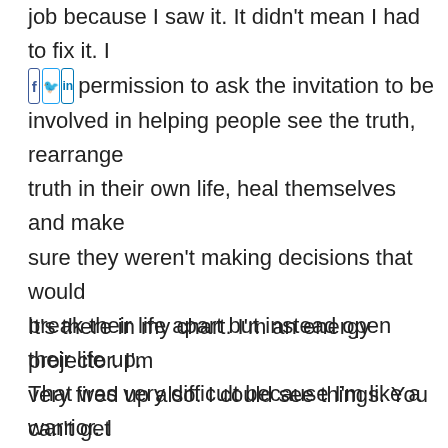job because I saw it. It didn't mean I had to fix it. I had the permission to ask the invitation to be involved in helping people see the truth, rearrange truth in their own life, heal themselves and make sure they weren't making decisions that would break their life apart but instead open their life up. That was very difficult because I'm like a warrior. I always felt like I had to fight for all these things that weren't mine ever. I didn't understand the invitation part and I ended up in a lot of challenging conflicts because of that.
It's there in my chart. I'm an energy projector. I'm very fired up also. I could see things. You can't get involved with people like that until I started to